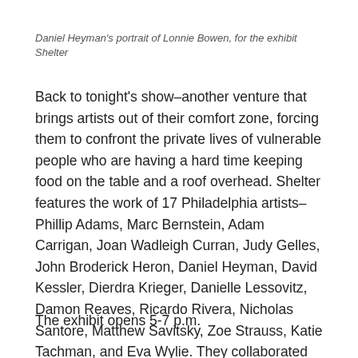Daniel Heyman's portrait of Lonnie Bowen, for the exhibit Shelter
Back to tonight's show–another venture that brings artists out of their comfort zone, forcing them to confront the private lives of vulnerable people who are having a hard time keeping food on the table and a roof overhead. Shelter features the work of 17 Philadelphia artists–Phillip Adams, Marc Bernstein, Adam Carrigan, Joan Wadleigh Curran, Judy Gelles, John Broderick Heron, Daniel Heyman, David Kessler, Dierdra Krieger, Danielle Lessovitz, Damon Reaves, Ricardo Rivera, Nicholas Santore, Matthew Savitsky, Zoe Strauss, Katie Tachman, and Eva Wylie. They collaborated with 10 Philadelphia households whose homes were restored by volunteers from Rebuilding Together Philadelphia.
The exhibit opens 5-7 p.m.